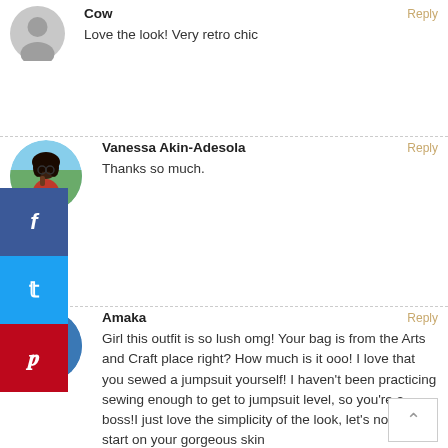[Figure (illustration): Gray placeholder avatar circle for user 'Cow']
Cow
Reply
Love the look! Very retro chic
[Figure (photo): Circular profile photo of Vanessa Akin-Adesola, a woman with curly hair outdoors]
Vanessa Akin-Adesola
Reply
Thanks so much.
[Figure (photo): Circular profile photo of Amaka, a child in front of a blue door]
Amaka
Reply
Girl this outfit is so lush omg! Your bag is from the Arts and Craft place right? How much is it ooo! I love that you sewed a jumpsuit yourself! I haven't been practicing sewing enough to get to jumpsuit level, so you're a boss!I just love the simplicity of the look, let's not even start on your gorgeous skin